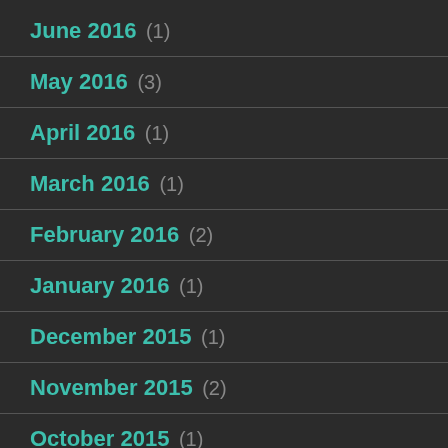June 2016 (1)
May 2016 (3)
April 2016 (1)
March 2016 (1)
February 2016 (2)
January 2016 (1)
December 2015 (1)
November 2015 (2)
October 2015 (1)
September 2015 (1)
August 2015 (3)